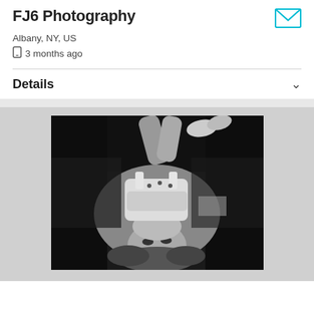FJ6 Photography
Albany, NY, US
3 months ago
Details
[Figure (photo): Black and white photograph of a young woman lying on her back in a vehicle interior, head tilted back toward the camera, wearing a white tank top and shorts, legs raised.]